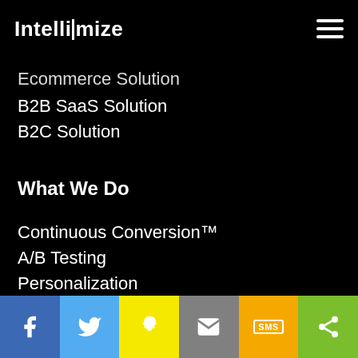Intellimize
Ecommerce Solution
B2B SaaS Solution
B2C Solution
What We Do
Continuous Conversion™
A/B Testing
Personalization
What is CRO?
Why Intellimize?
[Figure (infographic): Social sharing toolbar with icons: Facebook (blue), Twitter (light blue), Snapchat (yellow), Email (gray), SMS (orange), Share (green)]